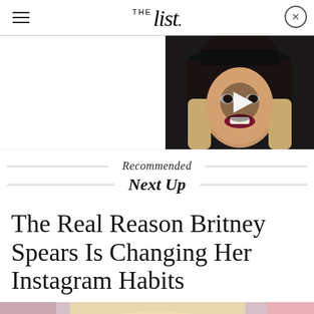THE List
[Figure (photo): Video thumbnail showing a woman with blonde ombre hair, black hat, dark lipstick, with a play button overlay]
Recommended
Next Up
The Real Reason Britney Spears Is Changing Her Instagram Habits
[Figure (photo): Bottom portion of a photo showing Britney Spears with blonde hair]